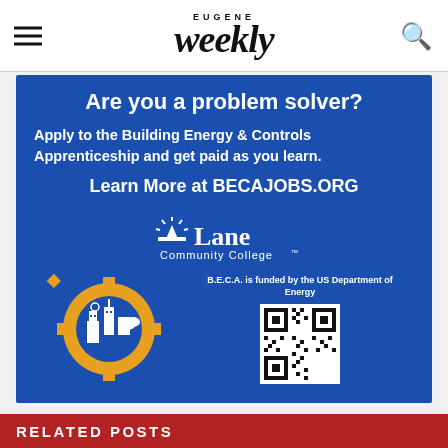Eugene Weekly
[Figure (infographic): Blue advertisement for Lane Community College BECA program. Text reads: 'Are you a problem solver? Apply to the Building Energy & Controls Apprenticeship and get paid as you learn. Learn More at BECAJOBS.ORG'. Features Lane Community College logo, a gear icon with city buildings, and a QR code. Bottom text: 'B.E.C.A. is funded by the US Department of Energy'.]
RELATED POSTS